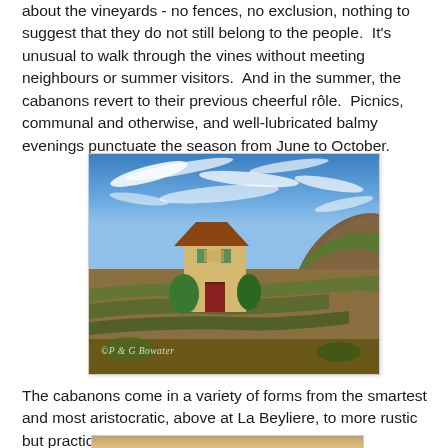about the vineyards - no fences, no exclusion, nothing to suggest that they do not still belong to the people.  It's unusual to walk through the vines without meeting neighbours or summer visitors.  And in the summer, the cabanons revert to their previous cheerful rôle.  Picnics, communal and otherwise, and well-lubricated balmy evenings punctuate the season from June to October.
[Figure (photo): A cabanon (small stone house) with teal/green shutters and a red door, set among vineyard rows, with dramatic blue sky and wispy clouds above and rocky hills in the background. Watermark reads '©P & G Bowater']
The cabanons come in a variety of forms from the smartest and most aristocratic, above at La Beyliere, to more rustic but practical shelters.
[Figure (photo): Partial view of another cabanon or vineyard scene, partially cut off at bottom of page.]